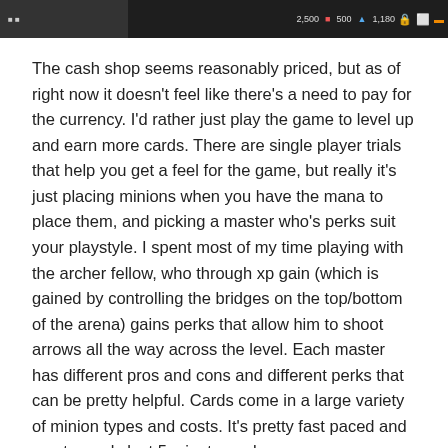[Figure (screenshot): Top portion of a mobile game screenshot showing a game HUD with resource counters (2,500, 500, 1,180) and icons on a dark toolbar.]
The cash shop seems reasonably priced, but as of right now it doesn't feel like there's a need to pay for the currency. I'd rather just play the game to level up and earn more cards. There are single player trials that help you get a feel for the game, but really it's just placing minions when you have the mana to place them, and picking a master who's perks suit your playstyle. I spent most of my time playing with the archer fellow, who through xp gain (which is gained by controlling the bridges on the top/bottom of the arena) gains perks that allow him to shoot arrows all the way across the level. Each master has different pros and cons and different perks that can be pretty helpful. Cards come in a large variety of minion types and costs. It's pretty fast paced and most rounds last 5 minutes or less.